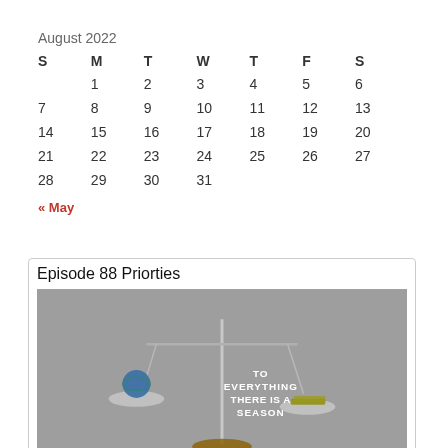| S | M | T | W | T | F | S |
| --- | --- | --- | --- | --- | --- | --- |
|  | 1 | 2 | 3 | 4 | 5 | 6 |
| 7 | 8 | 9 | 10 | 11 | 12 | 13 |
| 14 | 15 | 16 | 17 | 18 | 19 | 20 |
| 21 | 22 | 23 | 24 | 25 | 26 | 27 |
| 28 | 29 | 30 | 31 |  |  |  |
« May
Episode 88 Priorties
[Figure (photo): Scales of justice balancing a globe and money, with text overlay reading 'TO EVERYTHING THERE IS A SEASON']